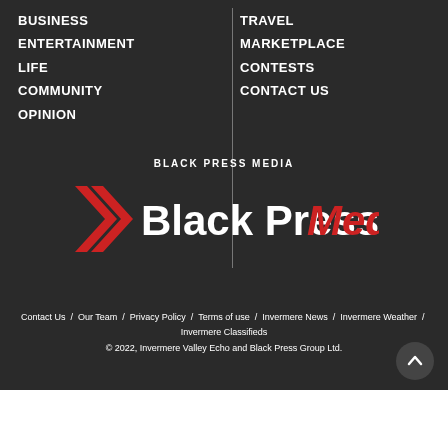BUSINESS
ENTERTAINMENT
LIFE
COMMUNITY
OPINION
TRAVEL
MARKETPLACE
CONTESTS
CONTACT US
BLACK PRESS MEDIA
[Figure (logo): Black Press Media logo with red chevron/arrow icon and white 'Black Press' text and red 'Media' text]
Contact Us / Our Team / Privacy Policy / Terms of use / Invermere News / Invermere Weather / Invermere Classifieds © 2022, Invermere Valley Echo and Black Press Group Ltd.